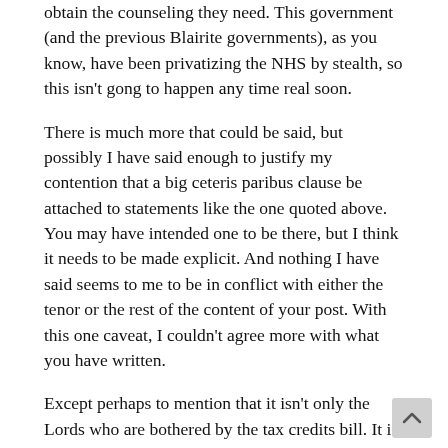obtain the counseling they need. This government (and the previous Blairite governments), as you know, have been privatizing the NHS by stealth, so this isn't gong to happen any time real soon.
There is much more that could be said, but possibly I have said enough to justify my contention that a big ceteris paribus clause be attached to statements like the one quoted above. You may have intended one to be there, but I think it needs to be made explicit. And nothing I have said seems to me to be in conflict with either the tenor or the rest of the content of your post. With this one caveat, I couldn't agree more with what you have written.
Except perhaps to mention that it isn't only the Lords who are bothered by the tax credits bill. It is Tory MPs who have already told Osborne “enough austerity already” and 71+ Tory MPs who will be feeling the wrath of their constituents after Xmas and are worried about their parliamentary longevity. The letter telling those affected by this bill, including many in